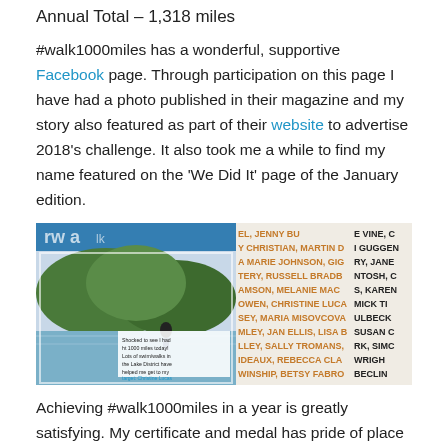Annual Total – 1,318 miles
#walk1000miles has a wonderful, supportive Facebook page. Through participation on this page I have had a photo published in their magazine and my story also featured as part of their website to advertise 2018's challenge. It also took me a while to find my name featured on the 'We Did It' page of the January edition.
[Figure (photo): Two photos side by side: left shows a magazine page with a photo of a person wading in a lake with mountains, captioned 'Shocked to see I had ht 1000 miles today! Lots of swim/walks in the Lake District have helped me get to my target: Christine Lucas'; right shows a close-up of a magazine name list page with names including JENNY, CHRISTIAN, MARTIN, MARIE JOHNSON, GIGI, RUSSELL BRADBURY, MELANIE MACKINTOSH, CHRISTINE LUCAS, MARIA MISOVCOVA, JAN ELLIS, LISA BULBECK, SALLY TROMANS, SUSAN, REBECCA CLARK, SIMON, BETSY FABRO, WRIGHT and others.]
Achieving #walk1000miles in a year is greatly satisfying. My certificate and medal has pride of place on my gym's wall.